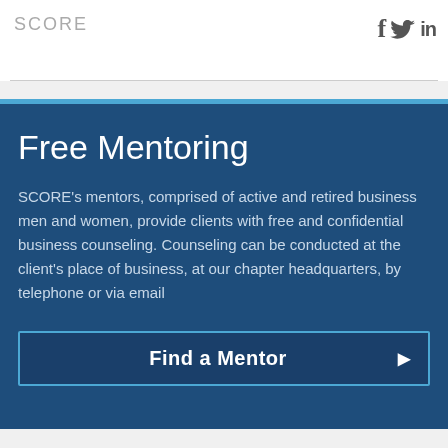SCORE
Free Mentoring
SCORE's mentors, comprised of active and retired business men and women, provide clients with free and confidential business counseling. Counseling can be conducted at the client's place of business, at our chapter headquarters, by telephone or via email
Find a Mentor